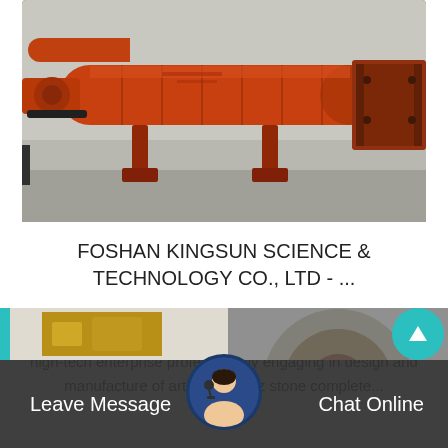[Figure (photo): Large orange industrial ball mill / rotary drum machine on outdoor ground, photographed from the side showing the cylindrical body, supporting structure, and drive components.]
FOSHAN KINGSUN SCIENCE & TECHNOLOGY CO., LTD - ...
Foshan KINGSUN Science & Technology Co., Ltd. is a high-tech enterprise professionally engaging in design and manufacture of artificial quartz stone complete...
[Figure (photo): Partial view of a second industrial machine (yellow/gold colored equipment), partially visible at the bottom of the page below the main card.]
Leave Message   Chat Online